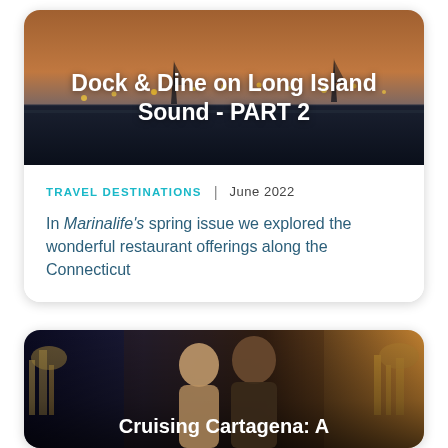[Figure (photo): Aerial/dusk view of Long Island Sound with sailboats and warm sky]
Dock & Dine on Long Island Sound - PART 2
TRAVEL DESTINATIONS  |  June 2022
In Marinalife's spring issue we explored the wonderful restaurant offerings along the Connecticut
READ MORE
[Figure (photo): Couple smiling in front of night cityscape, Cartagena]
Cruising Cartagena: A